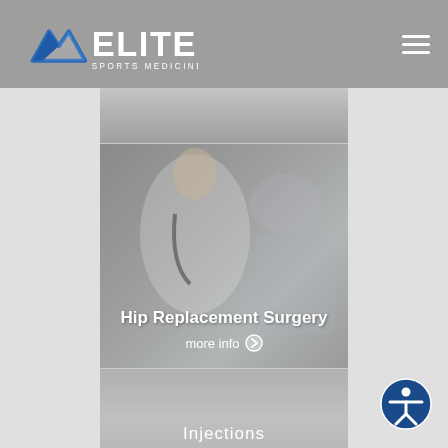ELITE SPORTS MEDICINE + ORTHOPEDICS
[Figure (photo): Partially visible medical/surgical scene from top]
[Figure (photo): Doctor consulting with elderly patient about hip replacement surgery]
Hip Replacement Surgery
more info
[Figure (photo): Injections section card - partially visible]
Injections